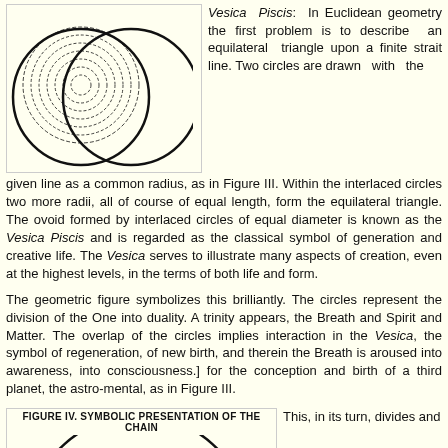[Figure (illustration): Vesica Piscis diagram showing two interlaced circles with concentric dashed rings inside, forming an ovoid shape in the center. Black line art on light yellow background.]
Vesica Piscis: In Euclidean geometry the first problem is to describe an equilateral triangle upon a finite strait line. Two circles are drawn with the given line as a common radius, as in Figure III. Within the interlaced circles two more radii, all of course of equal length, form the equilateral triangle. The ovoid formed by interlaced circles of equal diameter is known as the Vesica Piscis and is regarded as the classical symbol of generation and creative life. The Vesica serves to illustrate many aspects of creation, even at the highest levels, in the terms of both life and form.
The geometric figure symbolizes this brilliantly. The circles represent the division of the One into duality. A trinity appears, the Breath and Spirit and Matter. The overlap of the circles implies interaction in the Vesica, the symbol of regeneration, of new birth, and therein the Breath is aroused into awareness, into consciousness.] for the conception and birth of a third planet, the astro-mental, as in Figure III.
FIGURE IV. SYMBOLIC PRESENTATION OF THE CHAIN
[Figure (illustration): Partial diagram showing the top arc of a large circle, representing Figure IV - Symbolic Presentation of the Chain.]
This, in its turn, divides and